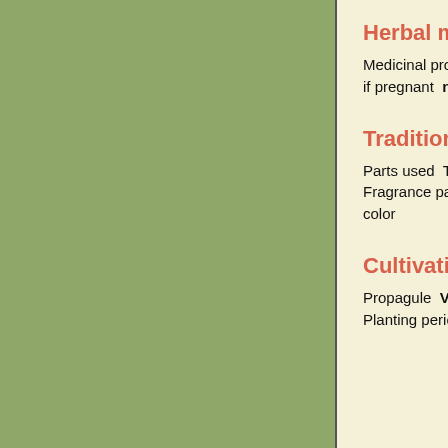Herbal medicine
Medicinal properties  Medicinal parts  Has medicinal uses  no  Do not self-administer  no  Do no use if pregnant  no  Legally restricted  no  Toxicity precautions  Medicinal notes
Traditional uses
Parts used  Traditional uses  Contemporary uses  Fragrance  scented like the Madonna lily  Fragrance parts  Flowers  Fragrance intensity  Faint  Fragrance category  Pungent  Dye parts  Dye color
Cultivation
Propagule  Various  Pollination method  Planting style  Crop spacing  Row spacing  Cold frame  Planting period